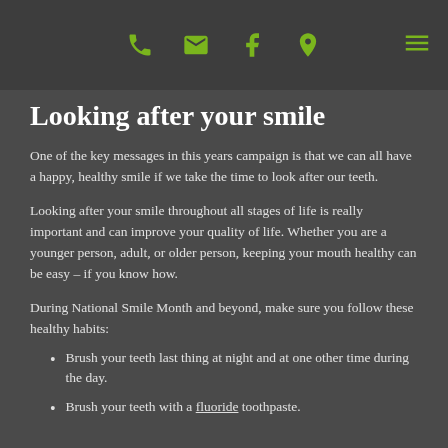[header bar with phone, email, facebook, location icons and menu icon]
Looking after your smile
One of the key messages in this years campaign is that we can all have a happy, healthy smile if we take the time to look after our teeth.
Looking after your smile throughout all stages of life is really important and can improve your quality of life. Whether you are a younger person, adult, or older person, keeping your mouth healthy can be easy – if you know how.
During National Smile Month and beyond, make sure you follow these healthy habits:
Brush your teeth last thing at night and at one other time during the day.
Brush your teeth with a fluoride toothpaste.